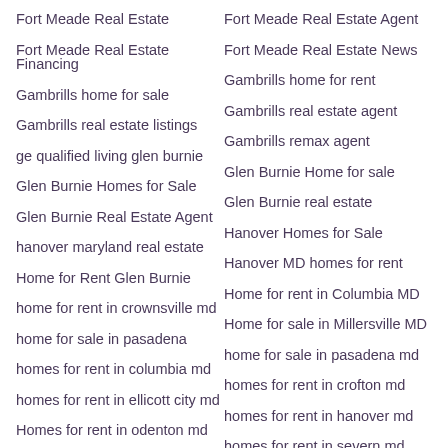Fort Meade Real Estate
Fort Meade Real Estate Agent
Fort Meade Real Estate Financing
Fort Meade Real Estate News
Gambrills home for sale
Gambrills home for rent
Gambrills real estate listings
Gambrills real estate agent
ge qualified living glen burnie
Gambrills remax agent
Glen Burnie Homes for Sale
Glen Burnie Home for sale
Glen Burnie Real Estate Agent
Glen Burnie real estate
hanover maryland real estate
Hanover Homes for Sale
Home for Rent Glen Burnie
Hanover MD homes for rent
home for rent in crownsville md
Home for rent in Columbia MD
home for sale in pasadena
Home for sale in Millersville MD
homes for rent in columbia md
home for sale in pasadena md
homes for rent in ellicott city md
homes for rent in crofton md
Homes for rent in odenton md
homes for rent in hanover md
homes for rent in severn md
Homes for rent in Arnold MD